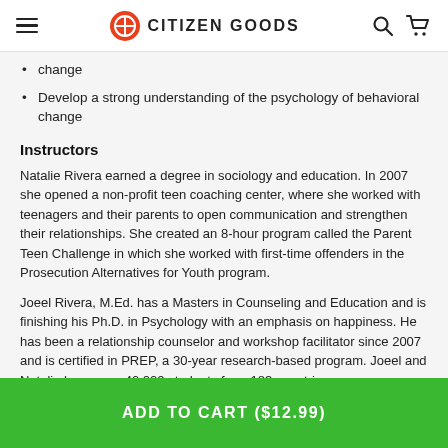CITIZEN GOODS
change
Develop a strong understanding of the psychology of behavioral change
Instructors
Natalie Rivera earned a degree in sociology and education. In 2007 she opened a non-profit teen coaching center, where she worked with teenagers and their parents to open communication and strengthen their relationships. She created an 8-hour program called the Parent Teen Challenge in which she worked with first-time offenders in the Prosecution Alternatives for Youth program.
Joeel Rivera, M.Ed. has a Masters in Counseling and Education and is finishing his Ph.D. in Psychology with an emphasis on happiness. He has been a relationship counselor and workshop facilitator since 2007 and is certified in PREP, a 30-year research-based program. Joeel and Natalie have over 40,000 students from 183 countries.
ADD TO CART ($12.99)